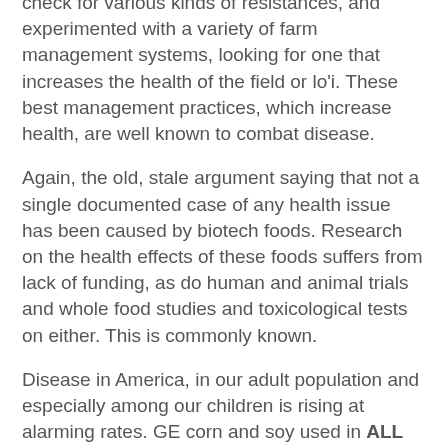check for various kinds of resistances, and experimented with a variety of farm management systems, looking for one that increases the health of the field or lo'i. These best management practices, which increase health, are well known to combat disease.
Again, the old, stale argument saying that not a single documented case of any health issue has been caused by biotech foods. Research on the health effects of these foods suffers from lack of funding, as do human and animal trials and whole food studies and toxicological tests on either. This is commonly known.
Disease in America, in our adult population and especially among our children is rising at alarming rates. GE corn and soy used in ALL processed and packaged foods is being pointed to as the main culprit. The high fructose corn syrup overriding the bodies ability to self regulate food intake, has been proven. Allergic reactions are also rising at alarming rates.
Biotech food causing not even a sniffle? The effects of these foods will only be known after actual study, observation, and